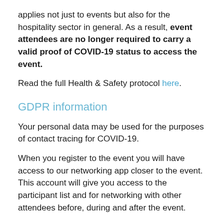applies not just to events but also for the hospitality sector in general. As a result, event attendees are no longer required to carry a valid proof of COVID-19 status to access the event.
Read the full Health & Safety protocol here.
GDPR information
Your personal data may be used for the purposes of contact tracing for COVID-19.
When you register to the event you will have access to our networking app closer to the event. This account will give you access to the participant list and for networking with other attendees before, during and after the event.
Speaker and Poster Presenter passes